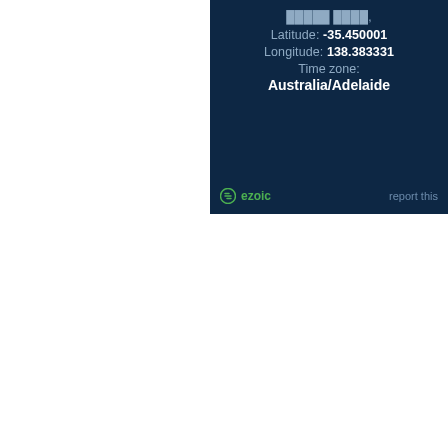Latitude: -35.450001
Longitude: 138.383331
Time zone:
Australia/Adelaide
ezoic  report this